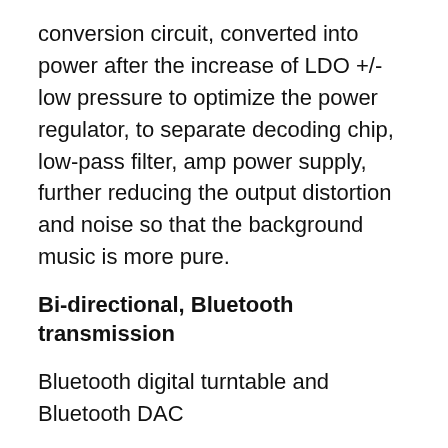conversion circuit, converted into power after the increase of LDO +/- low pressure to optimize the power regulator, to separate decoding chip, low-pass filter, amp power supply, further reducing the output distortion and noise so that the background music is more pure.
Bi-directional, Bluetooth transmission
Bluetooth digital turntable and Bluetooth DAC
Bluetooth 4.1 Bi-directional transmission, support the latest Apt-X Bluetooth protocol, can be used as a source of Bluetooth emission nondestructive digital signal connected with the Bluetooth headset, connect with car audio speakers and tuned to digital turntable, can also be used as a mobile phone's Bluetooth broadcast DAC, meet the audio digital continuous analog channel and